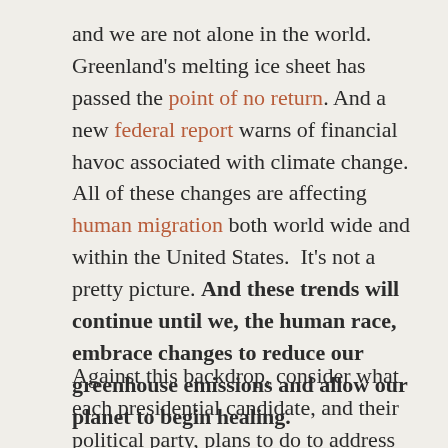and we are not alone in the world. Greenland's melting ice sheet has passed the point of no return. And a new federal report warns of financial havoc associated with climate change. All of these changes are affecting human migration both world wide and within the United States.  It's not a pretty picture. And these trends will continue until we, the human race, embrace changes to reduce our greenhouse emissions and allow our planet to begin healing.
Against this backdrop, consider what each presidential candidate, and their political party, plans to do to address this global chall...